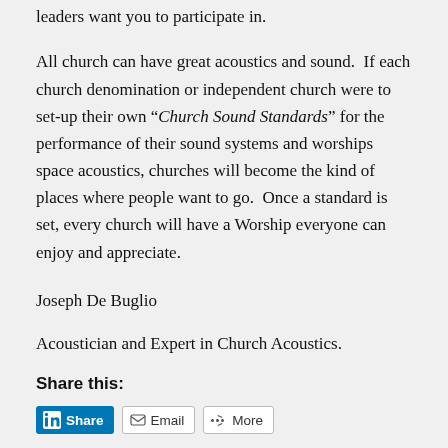leaders want you to participate in.
All church can have great acoustics and sound.  If each church denomination or independent church were to set-up their own “Church Sound Standards” for the performance of their sound systems and worships space acoustics, churches will become the kind of places where people want to go.  Once a standard is set, every church will have a Worship everyone can enjoy and appreciate.
Joseph De Buglio
Acoustician and Expert in Church Acoustics.
Share this:
[Figure (other): Share buttons: LinkedIn Share, Email, More]